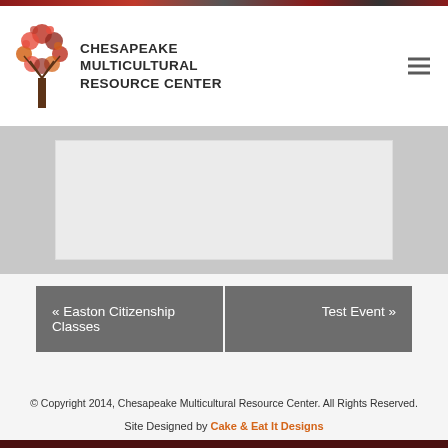Chesapeake Multicultural Resource Center
[Figure (logo): Chesapeake Multicultural Resource Center logo with autumn tree and organization name]
« Easton Citizenship Classes
Test Event »
© Copyright 2014, Chesapeake Multicultural Resource Center. All Rights Reserved. Site Designed by Cake & Eat It Designs